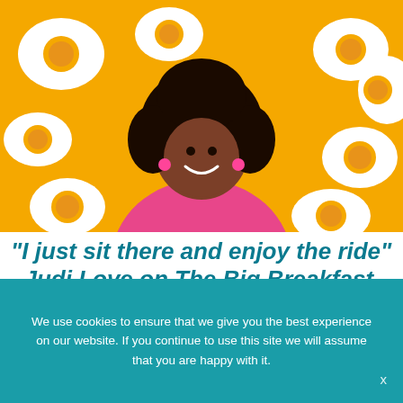[Figure (photo): A smiling Black woman wearing a bright pink/magenta top, photographed in front of a yellow background with cartoon fried eggs pattern. The image is from a TV segment related to The Big Breakfast.]
“I just sit there and enjoy the ride” –Judi Love on The Big Breakfast
We use cookies to ensure that we give you the best experience on our website. If you continue to use this site we will assume that you are happy with it.